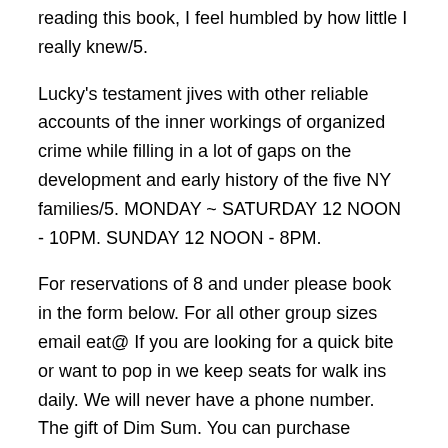reading this book, I feel humbled by how little I really knew/5.
Lucky's testament jives with other reliable accounts of the inner workings of organized crime while filling in a lot of gaps on the development and early history of the five NY families/5. MONDAY ~ SATURDAY 12 NOON - 10PM. SUNDAY 12 NOON - 8PM.
For reservations of 8 and under please book in the form below. For all other group sizes email eat@ If you are looking for a quick bite or want to pop in we keep seats for walk ins daily. We will never have a phone number. The gift of Dim Sum. You can purchase LuckyT Gift.
Lucky is a memoir by American novelist Alice Sebold, author of The Lovely memoir describes her experiences of being raped and how the experience shaped the rest of her life. Summary. Inyear-old Alice Sebold was living in Syracuse, New was finishing her freshman year at Syracuse University when she was attacked, beaten, and raped Author: Alice Sebold.
Immediately download the Lucky summary, chapter-by-chapter analysis, book notes, essays, quotes, character descriptions, lesson